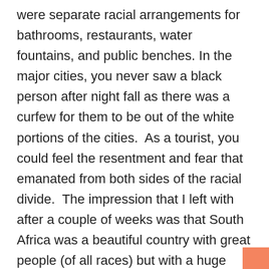were separate racial arrangements for bathrooms, restaurants, water fountains, and public benches. In the major cities, you never saw a black person after night fall as there was a curfew for them to be out of the white portions of the cities.  As a tourist, you could feel the resentment and fear that emanated from both sides of the racial divide.  The impression that I left with after a couple of weeks was that South Africa was a beautiful country with great people (of all races) but with a huge mess on their hands.
I didn't visit South Africa again because of the sanctions imposed in 1986 until Mr. Mandela was able to orchestrate the transition of power from the white National Party to the black African